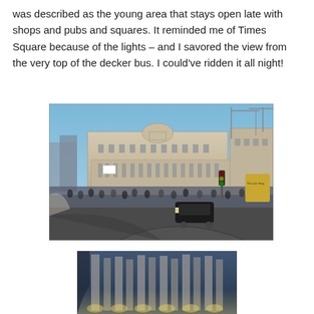was described as the young area that stays open late with shops and pubs and squares. It reminded me of Times Square because of the lights – and I savored the view from the very top of the decker bus. I could've ridden it all night!
[Figure (photo): Street-level view of a busy London square (Piccadilly Circus area) taken from the top of a double-decker bus, showing a large neoclassical building with a dome, crowds of pedestrians, traffic, and construction cranes in the background under a blue sky.]
[Figure (photo): Close-up, slightly blurred photo of an ornate illuminated architectural structure or fountain at night, partially visible at the bottom of the page.]